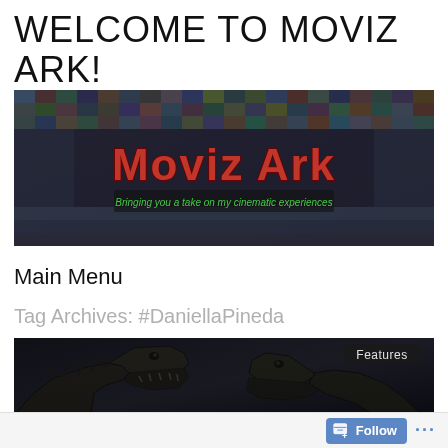WELCOME TO MOVIZ ARK!
[Figure (illustration): Moviz Ark blog banner: a collage of movie stills forming the background, with 'Moviz Ark' in large red grunge text and the subtitle 'Bringing you a take on my cinematic experiences' in green text on a dark bar.]
Main Menu
Tag Archives: #DaniellaPineda
[Figure (photo): Dark cinematic photo showing two dinosaurs (T-Rex type) facing each other in a shadowy environment, with a 'Features' label in the top right corner.]
Follow ...